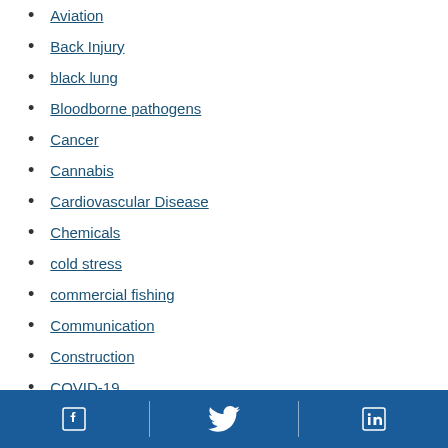Aviation
Back Injury
black lung
Bloodborne pathogens
Cancer
Cannabis
Cardiovascular Disease
Chemicals
cold stress
commercial fishing
Communication
Construction
COVID-19
Facebook | Twitter | LinkedIn